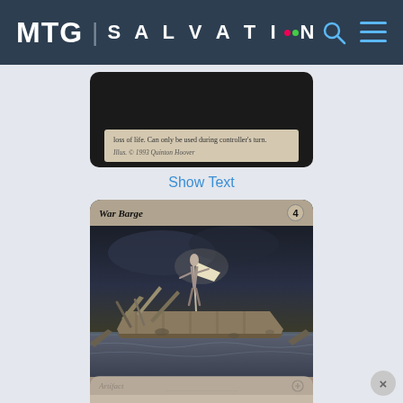[Figure (screenshot): MTG Salvation website header with dark navy background showing logo 'MTG | SALVATION' with colored dots, search icon, and hamburger menu icon in blue]
[Figure (photo): Partial view of an MTG card (bottom portion) showing rules text about loss of life and illustrator credit '1993 Quinton Hoover']
Show Text
[Figure (photo): MTG card 'War Barge' with cost 4, artifact type, showing artwork of a war barge with a figure holding a flag amid destruction, and rules text: '3: Target creature gains islandwalk until end of turn. If War Barge leaves play this turn, target creature is buried.']
[Figure (photo): Partially visible bottom of another MTG card with faded/blurred appearance]